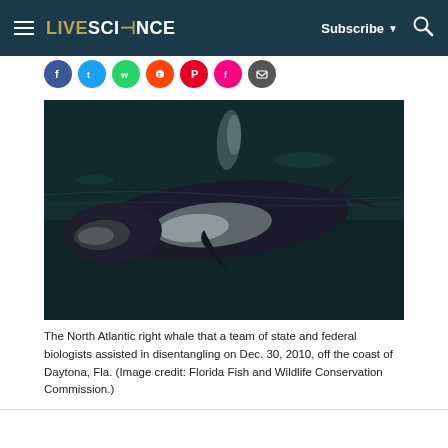LIVESCIENCE  Subscribe  🔍
[Figure (photo): Aerial view of a North Atlantic right whale swimming near the ocean surface, showing its dark body with white patches against dark teal water]
The North Atlantic right whale that a team of state and federal biologists assisted in disentangling on Dec. 30, 2010, off the coast of Daytona, Fla. (Image credit: Florida Fish and Wildlife Conservation Commission.)